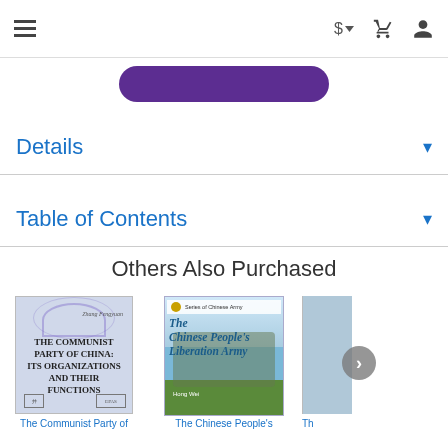Navigation bar with hamburger menu, dollar currency selector, cart icon, and user icon
[Figure (screenshot): Purple rounded button partially visible at top]
Details
Table of Contents
Others Also Purchased
[Figure (photo): Book cover: The Communist Party of China: Its Organizations and Their Functions]
The Communist Party of
[Figure (photo): Book cover: The Chinese People's Liberation Army, Series of Chinese Army]
The Chinese People's
[Figure (photo): Third book cover partially visible on right edge]
Th